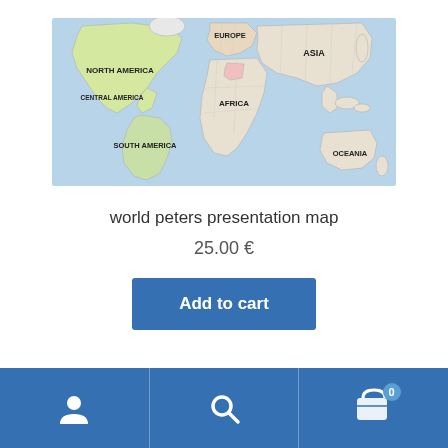[Figure (map): World map with labeled regions: NORTH AMERICA, CENTRAL AMERICA, SOUTH AMERICA, EUROPE, AFRICA, ASIA, OCEANIA. Some regions highlighted in light colors on a blue ocean background.]
world peters presentation map
25.00 €
Add to cart
Navigation bar with account icon, search icon, and cart icon with badge 0